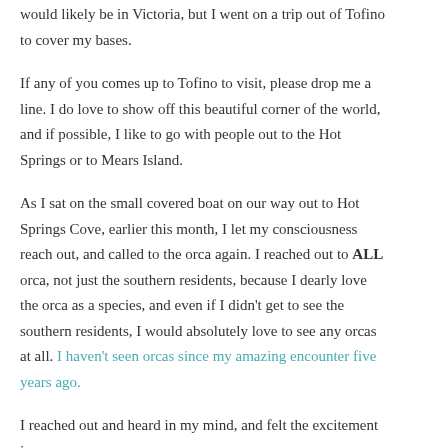would likely be in Victoria, but I went on a trip out of Tofino to cover my bases.
If any of you comes up to Tofino to visit, please drop me a line.  I do love to show off this beautiful corner of the world, and if possible, I like to go with people out to the Hot Springs or to Mears Island.
As I sat on the small covered boat on our way out to Hot Springs Cove, earlier this month, I let my consciousness reach out, and called to the orca again.  I reached out to ALL orca, not just the southern residents, because I dearly love the orca as a species, and even if I didn't get to see the southern residents, I would absolutely love to see any orcas at all.  I haven't seen orcas since my amazing encounter five years ago.
I reached out and heard in my mind, and felt the excitement in my